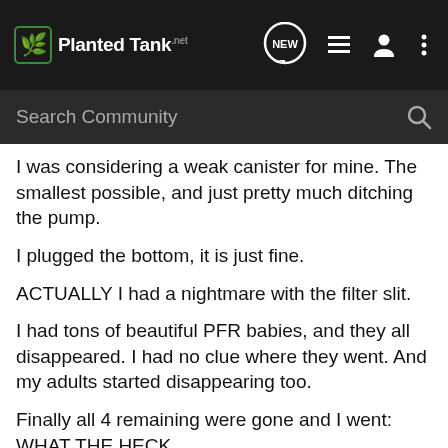PlantedTank
Search Community
I was considering a weak canister for mine. The smallest possible, and just pretty much ditching the pump.
I plugged the bottom, it is just fine.
ACTUALLY I had a nightmare with the filter slit.
I had tons of beautiful PFR babies, and they all disappeared. I had no clue where they went. And my adults started disappearing too.
Finally all 4 remaining were gone and I went: WHAT THE HECK.
Pulled the filter out, and boing, RCS flew all over the room. :/